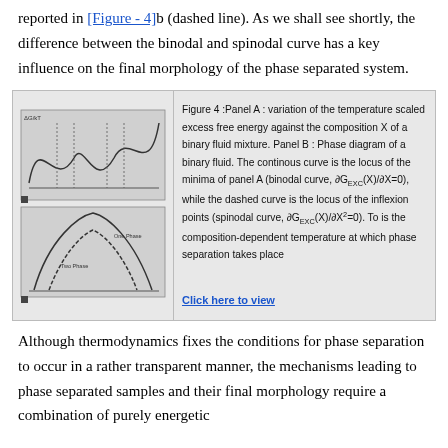reported in [Figure - 4]b (dashed line). As we shall see shortly, the difference between the binodal and spinodal curve has a key influence on the final morphology of the phase separated system.
[Figure (illustration): Panel A and Panel B diagrams of phase separation thermodynamics. Panel A shows temperature scaled excess free energy vs composition X with a double-well curve. Panel B shows a phase diagram with binodal and spinodal curves, labeling 'One Phase' and 'Two Phase' regions.]
Figure 4 :Panel A : variation of the temperature scaled excess free energy against the composition X of a binary fluid mixture. Panel B : Phase diagram of a binary fluid. The continous curve is the locus of the minima of panel A (binodal curve, ∂G_EXC(X)/∂X=0), while the dashed curve is the locus of the inflexion points (spinodal curve, ∂G_EXC(X)/∂X²=0). To is the composition-dependent temperature at which phase separation takes place
Although thermodynamics fixes the conditions for phase separation to occur in a rather transparent manner, the mechanisms leading to phase separated samples and their final morphology require a combination of purely energetic